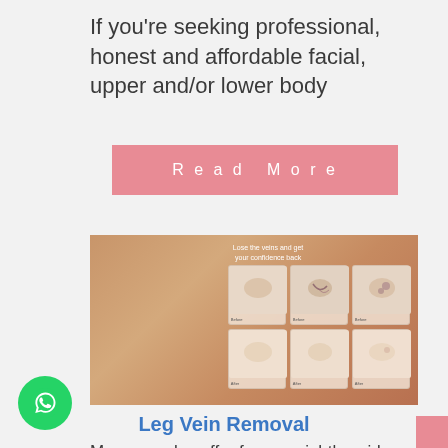If you're seeking professional, honest and affordable facial, upper and/or lower body
Read More
[Figure (photo): Medical/cosmetic treatment photo showing before and after images of leg vein removal in a 2x3 grid, set against a warm skin-toned background with text overlay 'Lose the veins and get your confidence back']
Leg Vein Removal
Many people suffer from unsightly spider veins. Spider veins are